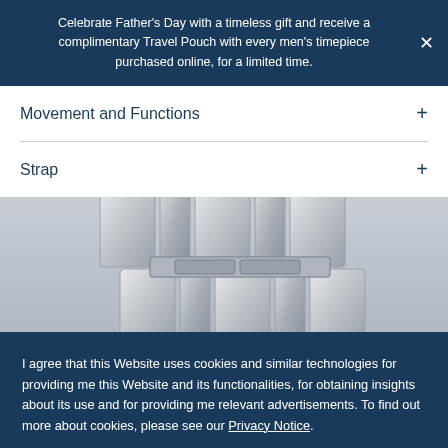Celebrate Father's Day with a timeless gift and receive a complimentary Travel Pouch with every men's timepiece purchased online, for a limited time.
Movement and Functions
Strap
[Figure (photo): Close-up photograph of a silver metallic watch bracelet/strap with rectangular links, on a light grey background.]
I agree that this Website uses cookies and similar technologies for providing me this Website and its functionalities, for obtaining insights about its use and for providing me relevant advertisements. To find out more about cookies, please see our Privacy Notice.
DECLINE
ACCEPT